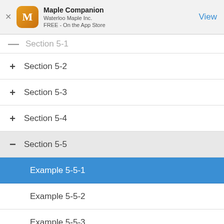[Figure (screenshot): App Store banner for Maple Companion by Waterloo Maple Inc., FREE on the App Store, with a View button]
Section 5-1 (collapsed, partially visible)
+ Section 5-2
+ Section 5-3
+ Section 5-4
- Section 5-5 (expanded, selected)
Example 5-5-1 (currently selected, highlighted blue)
Example 5-5-2
Example 5-5-3
Example 5-5-4
Example 5-5-5 (partially visible)